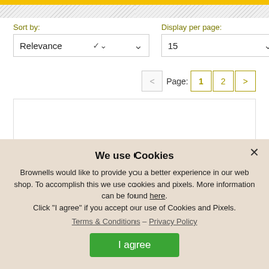[Figure (screenshot): Yellow top bar and hatched pattern area at the top of the page]
Sort by:
Relevance
Display per page:
15
Page: 1 2 >
We use Cookies
Brownells would like to provide you a better experience in our web shop. To accomplish this we use cookies and pixels. More information can be found here.
Click "I agree" if you accept our use of Cookies and Pixels.
Terms & Conditions – Privacy Policy
I agree